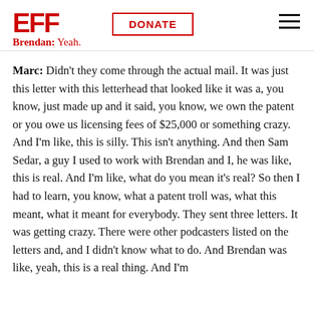EFF | DONATE
Brendan: Yeah.
Marc: Didn't they come through the actual mail. It was just this letter with this letterhead that looked like it was a, you know, just made up and it said, you know, we own the patent or you owe us licensing fees of $25,000 or something crazy. And I'm like, this is silly. This isn't anything. And then Sam Sedar, a guy I used to work with Brendan and I, he was like, this is real. And I'm like, what do you mean it's real? So then I had to learn, you know, what a patent troll was, what this meant, what it meant for everybody. They sent three letters. It was getting crazy. There were other podcasters listed on the letters and, and I didn't know what to do. And Brendan was like, yeah, this is a real thing. And I'm